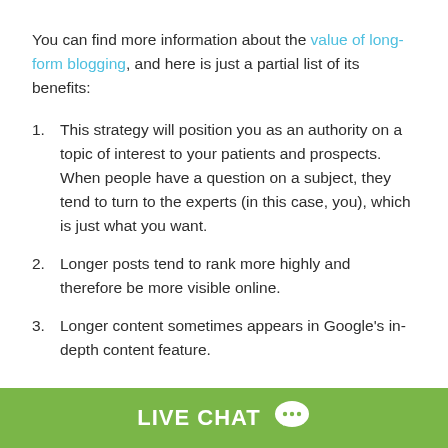You can find more information about the value of long-form blogging, and here is just a partial list of its benefits:
This strategy will position you as an authority on a topic of interest to your patients and prospects. When people have a question on a subject, they tend to turn to the experts (in this case, you), which is just what you want.
Longer posts tend to rank more highly and therefore be more visible online.
Longer content sometimes appears in Google's in-depth content feature.
LIVE CHAT